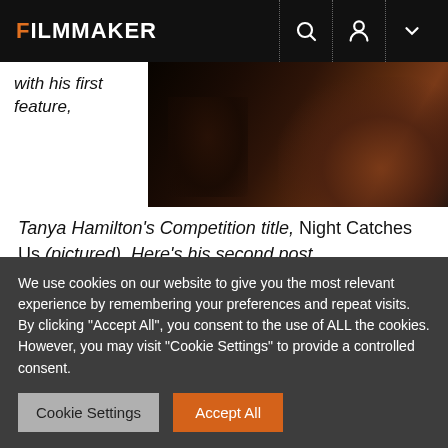FILMMAKER
[Figure (photo): Dark film still from Night Catches Us showing figures in low light]
with his first feature, Tanya Hamilton’s Competition title, Night Catches Us (pictured). Here’s his second post.
Well I am here!
The journey was not without its complications, but I’m
We use cookies on our website to give you the most relevant experience by remembering your preferences and repeat visits. By clicking “Accept All”, you consent to the use of ALL the cookies. However, you may visit "Cookie Settings" to provide a controlled consent.